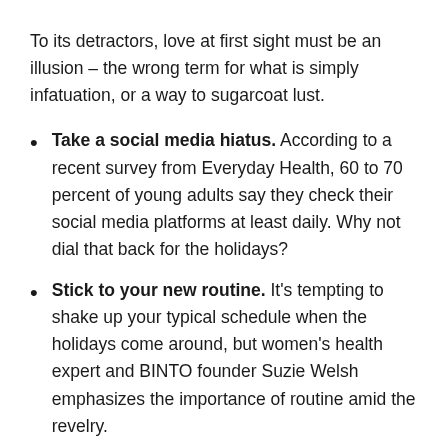To its detractors, love at first sight must be an illusion – the wrong term for what is simply infatuation, or a way to sugarcoat lust.
Take a social media hiatus. According to a recent survey from Everyday Health, 60 to 70 percent of young adults say they check their social media platforms at least daily. Why not dial that back for the holidays?
Stick to your new routine. It's tempting to shake up your typical schedule when the holidays come around, but women's health expert and BINTO founder Suzie Welsh emphasizes the importance of routine amid the revelry.
Be intentional about fitness. If working out is a de-